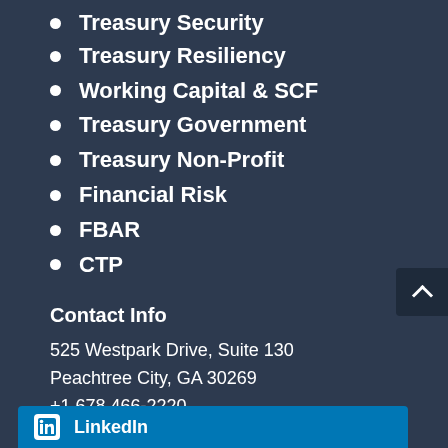Treasury Security
Treasury Resiliency
Working Capital & SCF
Treasury Government
Treasury Non-Profit
Financial Risk
FBAR
CTP
Contact Info
525 Westpark Drive, Suite 130
Peachtree City, GA 30269
+1 678.466-2220
info@strategictreasurer.com
LinkedIn